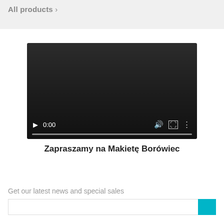All products >
[Figure (screenshot): Video player showing a dark screen with playback controls at the bottom: play button, time display '0:00', volume icon, fullscreen icon, and more options icon. A progress bar is shown below the controls.]
Zapraszamy na Makietę Borówiec
Get our latest news and special sales